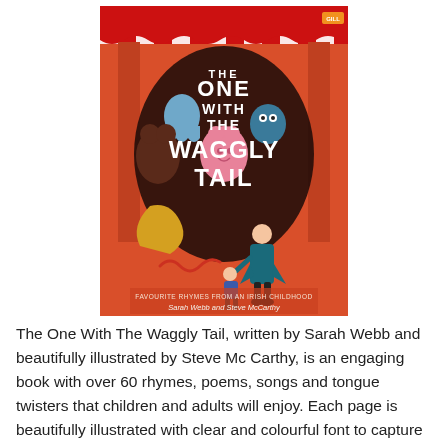[Figure (illustration): Book cover of 'The One With The Waggly Tail' — Favourite Rhymes From An Irish Childhood by Sarah Webb and Steve McCarthy. Orange background with a red-and-white striped awning at top. Various illustrated animal/monster characters (blue ghost, bear, pink creature, dragon) displayed in a shop window. A woman in teal coat walks with a child in the foreground. Bold white title text dominates the center.]
The One With The Waggly Tail, written by Sarah Webb and beautifully illustrated by Steve Mc Carthy, is an engaging book with over 60 rhymes, poems, songs and tongue twisters that children and adults will enjoy. Each page is beautifully illustrated with clear and colourful font to capture the imagination of the younger reader. The artistic illustrations is a treasure